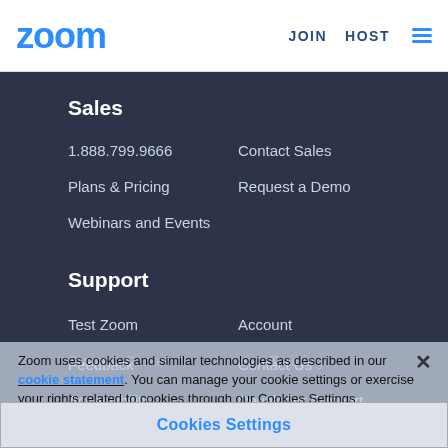zoom | JOIN HOST ≡
Sales
1.888.799.9666
Contact Sales
Plans & Pricing
Request a Demo
Webinars and Events
Support
Test Zoom
Account
Support Center
Live Training
Feedback
Contact Us
Accessibility
Developer Support
Privacy, Security, Legal Policies, and Modern Slavery Act Transparency Statement
Developer Support
Zoom uses cookies and similar technologies as described in our cookie statement. You can manage your cookie settings or exercise your rights related to cookies through our Cookies Settings
Cookies Settings